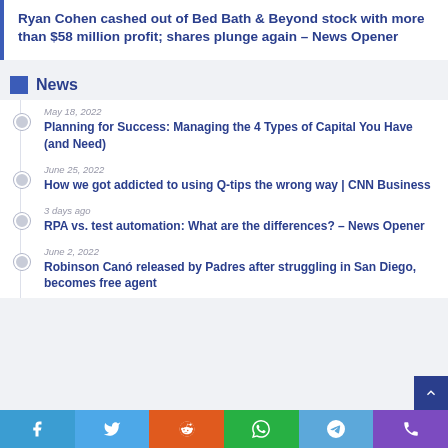Ryan Cohen cashed out of Bed Bath & Beyond stock with more than $58 million profit; shares plunge again – News Opener
News
May 18, 2022
Planning for Success: Managing the 4 Types of Capital You Have (and Need)
June 25, 2022
How we got addicted to using Q-tips the wrong way | CNN Business
3 days ago
RPA vs. test automation: What are the differences? – News Opener
June 2, 2022
Robinson Canó released by Padres after struggling in San Diego, becomes free agent